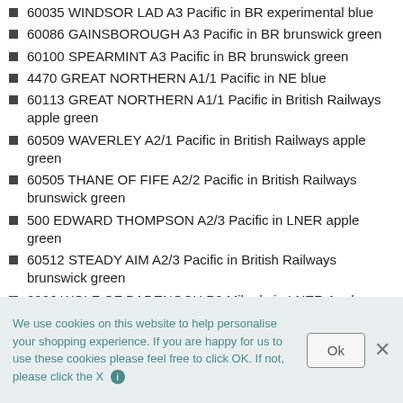60035 WINDSOR LAD A3 Pacific in BR experimental blue
60086 GAINSBOROUGH A3 Pacific in BR brunswick green
60100 SPEARMINT A3 Pacific in BR brunswick green
4470 GREAT NORTHERN A1/1 Pacific in NE blue
60113 GREAT NORTHERN A1/1 Pacific in British Railways apple green
60509 WAVERLEY A2/1 Pacific in British Railways apple green
60505 THANE OF FIFE A2/2 Pacific in British Railways brunswick green
500 EDWARD THOMPSON A2/3 Pacific in LNER apple green
60512 STEADY AIM A2/3 Pacific in British Railways brunswick green
2006 WOLF OF BADENOCH P2 Mikado in LNER Apple Green
WAGONS
We use cookies on this website to help personalise your shopping experience. If you are happy for us to use these cookies please feel free to click OK. If not, please click the X